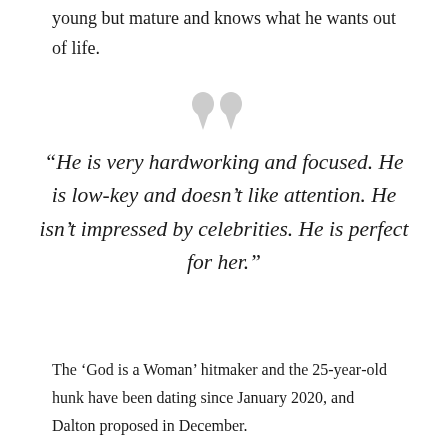young but mature and knows what he wants out of life.
[Figure (illustration): Large decorative quotation mark graphic in light grey]
“He is very hardworking and focused. He is low-key and doesn’t like attention. He isn’t impressed by celebrities. He is perfect for her.”
The ‘God is a Woman’ hitmaker and the 25-year-old hunk have been dating since January 2020, and Dalton proposed in December.